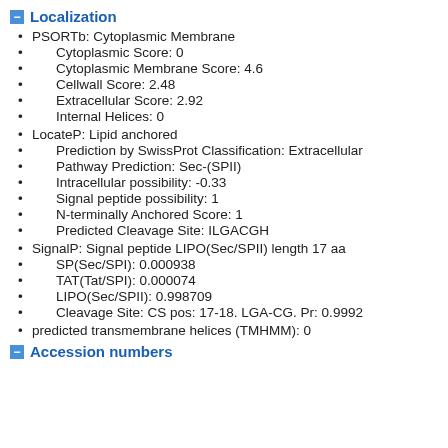Localization
PSORTb: Cytoplasmic Membrane
Cytoplasmic Score: 0
Cytoplasmic Membrane Score: 4.6
Cellwall Score: 2.48
Extracellular Score: 2.92
Internal Helices: 0
LocateP: Lipid anchored
Prediction by SwissProt Classification: Extracellular
Pathway Prediction: Sec-(SPII)
Intracellular possibility: -0.33
Signal peptide possibility: 1
N-terminally Anchored Score: 1
Predicted Cleavage Site: ILGACGH
SignalP: Signal peptide LIPO(Sec/SPII) length 17 aa
SP(Sec/SPI): 0.000938
TAT(Tat/SPI): 0.000074
LIPO(Sec/SPII): 0.998709
Cleavage Site: CS pos: 17-18. LGA-CG. Pr: 0.9992
predicted transmembrane helices (TMHMM): 0
Accession numbers